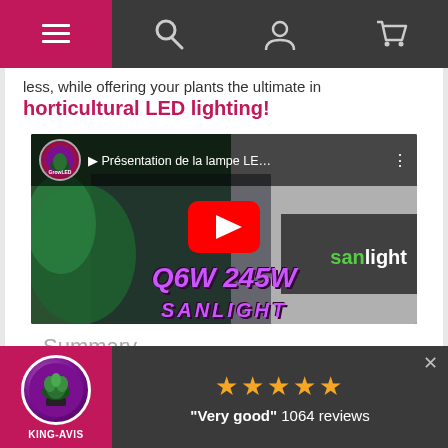Navigation bar with menu, search, user, and cart icons
less, while offering your plants the ultimate in
horticultural LED lighting!
[Figure (screenshot): YouTube video thumbnail showing a man presenting the Sanlight Q6W 245W LED grow light. Video title: 'Présentation de la lampe LE…'. Channel: GrowLED. Overlay text: Q6W 245W SANLIGHT]
Summary
KING-AVIS ★★★★★ "Very good" 1064 reviews